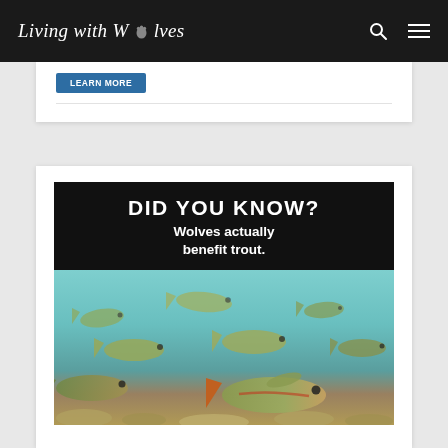Living with Wolves
[Figure (infographic): Infographic with black header reading 'DID YOU KNOW? Wolves actually benefit trout.' above an underwater photograph of multiple trout fish swimming near the riverbed.]